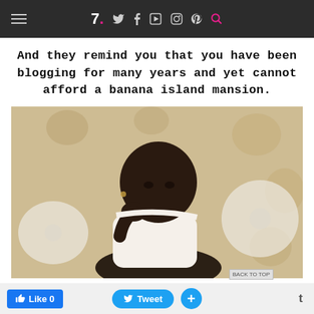7. [social icons: Twitter, Facebook, YouTube, Instagram, Pinterest, Search]
And they remind you that you have been blogging for many years and yet cannot afford a banana island mansion.
[Figure (photo): Black and white/vintage photo of a young child sitting on a floral-patterned couch, resting chin on hand with a serious expression, wearing a white top.]
Like 0  Tweet  +  t